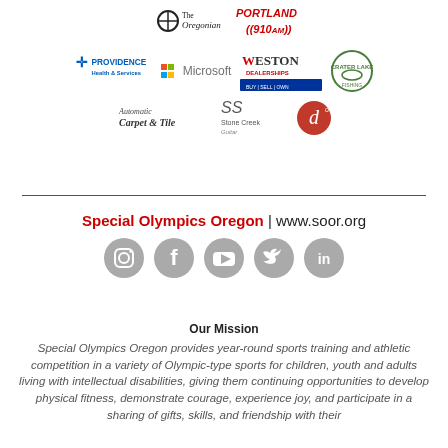[Figure (logo): Sponsor logos row 1: The Oregonian, Portland 910AM]
[Figure (logo): Sponsor logos row 2: Providence Health & Services, Microsoft, Weston Dealerships, green circle logo]
[Figure (logo): Sponsor logos row 3: Automatic Carpet & Tile, Stone Creek Guitar, d logo]
Special Olympics Oregon | www.soor.org
[Figure (infographic): Social media icons: Instagram, Facebook, YouTube, Twitter, LinkedIn]
Our Mission
Special Olympics Oregon provides year-round sports training and athletic competition in a variety of Olympic-type sports for children, youth and adults living with intellectual disabilities, giving them continuing opportunities to develop physical fitness, demonstrate courage, experience joy, and participate in a sharing of gifts, skills, and friendship with their